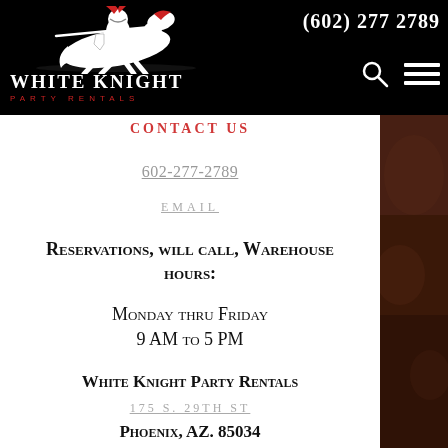[Figure (logo): White Knight Party Rentals logo with knight on horseback, white on black background, with company name and 'PARTY RENTALS' subtitle]
(602) 277 2789
602-277-2789
EMAIL
Reservations, will call, Warehouse hours:
Monday thru Friday
9 AM to 5 PM
White Knight Party Rentals
175 S. 29TH ST
Phoenix, AZ. 85034